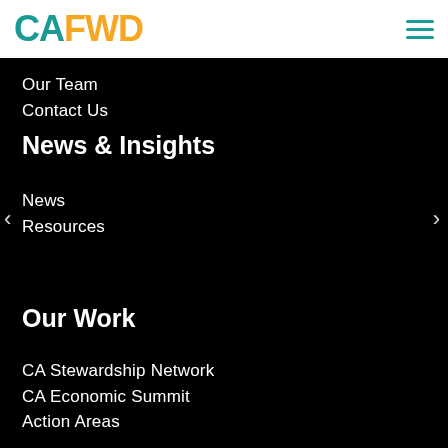[Figure (logo): CAFWD logo with teal CA and orange FWD text]
Our Team
Contact Us
News & Insights
News
Resources
Our Work
CA Stewardship Network
CA Economic Summit
Action Areas